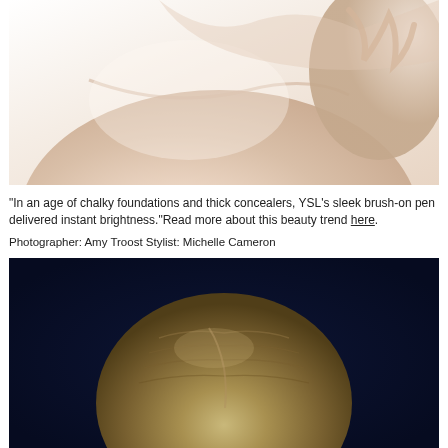[Figure (photo): Close-up photograph of bare skin showing shoulder/chest area with a hand, soft warm skin tones against white background]
“In an age of chalky foundations and thick concealers, YSL’s sleek brush-on pen delivered instant brightness.” Read more about this beauty trend here.
Photographer: Amy Troost Stylist: Michelle Cameron
[Figure (photo): Top-down close-up photograph of a person's blonde hair against a dark navy/black background, showing the crown of the head with warm glow at the base]